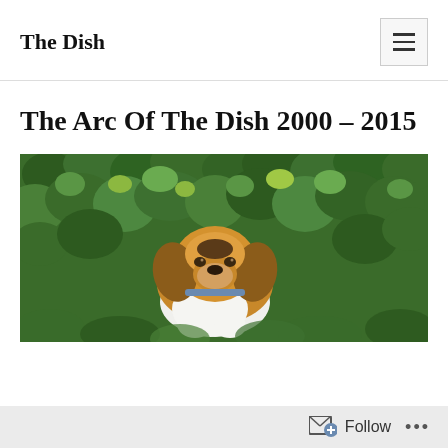The Dish
The Arc Of The Dish 2000 – 2015
[Figure (photo): A beagle dog lying among dense green ivy leaves, looking at the camera. The dog has a white chest, brown and black coloring, and floppy ears.]
Follow ...